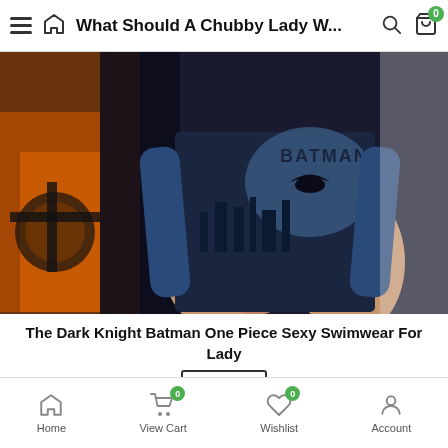What Should A Chubby Lady W...
[Figure (photo): A woman wearing The Dark Knight Batman one-piece swimwear, showing the torso and lower body. The suit has a Batman logo and Gotham City skyline design. Background is dark/moody.]
The Dark Knight Batman One Piece Sexy Swimwear For Lady
SALE
$30.00 $25.00
Home  View Cart  Wishlist  Account